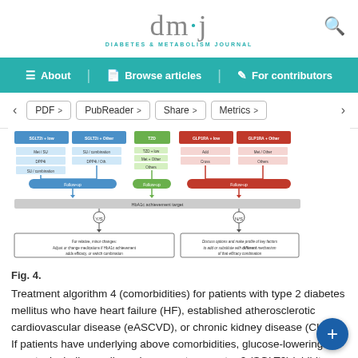dmj — DIABETES & METABOLISM JOURNAL
[Figure (flowchart): Treatment algorithm 4 flowchart showing comorbidities pathways for patients with type 2 diabetes mellitus: SGLT2i+low, SGLT2i+Other columns on left (blue), TZD column (green center-left), GLP1RA+low and GLP1RA+Other columns (red/orange right). Shows follow-up nodes and HbA1c achievement decision points leading to two outcome boxes.]
Fig. 4.
Treatment algorithm 4 (comorbidities) for patients with type 2 diabetes mellitus who have heart failure (HF), established atherosclerotic cardiovascular disease (eASCVD), or chronic kidney disease (CKD). If patients have underlying above comorbidities, glucose-lowering agents, including sodium-glucose cotransporter 2 (SGLT2) inhibitor or glucagon-like peptide-1 receptor agonist (GLP1-RA), are the preferred choice. For patients with HF